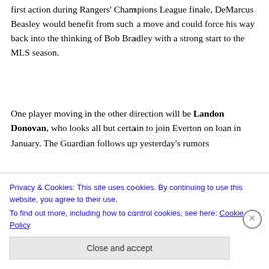first action during Rangers' Champions League finale, DeMarcus Beasley would benefit from such a move and could force his way back into the thinking of Bob Bradley with a strong start to the MLS season.
One player moving in the other direction will be Landon Donovan, who looks all but certain to join Everton on loan in January. The Guardian follows up yesterday's rumors with a report that tells us more, finding some but still and
Privacy & Cookies: This site uses cookies. By continuing to use this website, you agree to their use.
To find out more, including how to control cookies, see here: Cookie Policy